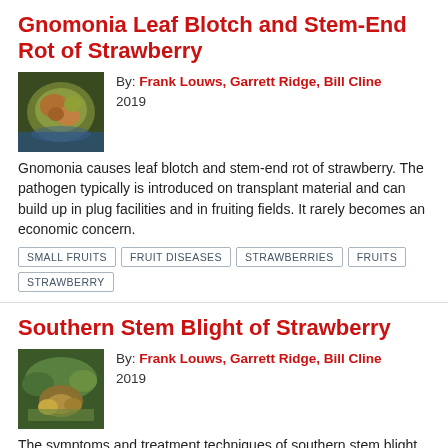Gnomonia Leaf Blotch and Stem-End Rot of Strawberry
By: Frank Louws, Garrett Ridge, Bill Cline
2019
[Figure (photo): Close-up photo of a strawberry leaf affected by Gnomonia leaf blotch, showing brownish-green diseased tissue.]
Gnomonia causes leaf blotch and stem-end rot of strawberry. The pathogen typically is introduced on transplant material and can build up in plug facilities and in fruiting fields. It rarely becomes an economic concern.
SMALL FRUITS
FRUIT DISEASES
STRAWBERRIES
FRUITS
STRAWBERRY
Southern Stem Blight of Strawberry
By: Frank Louws, Garrett Ridge, Bill Cline
2019
[Figure (photo): Photo of strawberry plants affected by southern stem blight, showing browning and wilting near soil level with green foliage around.]
The symptoms and treatment techniques of southern stem blight in strawberries are discussed in this factsheet.